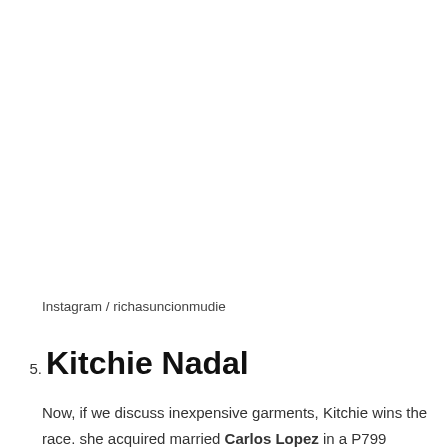Instagram / richasuncionmudie
5. Kitchie Nadal
Now, if we discuss inexpensive garments, Kitchie wins the race. she acquired married Carlos Lopez in a P799